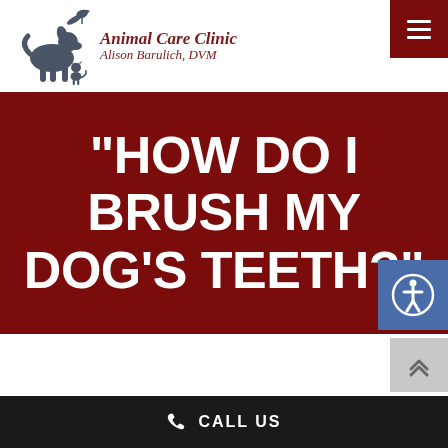[Figure (logo): Animal Care Clinic logo with silhouettes of a dog, cat, and bird. Text reads 'Animal Care Clinic' and 'Alison Barulich, DVM' in dark red italic font.]
“HOW DO I BRUSH MY DOG’S TEETH?”
[Figure (photo): Partial photo of a person and dog visible at the bottom of the page.]
CALL US